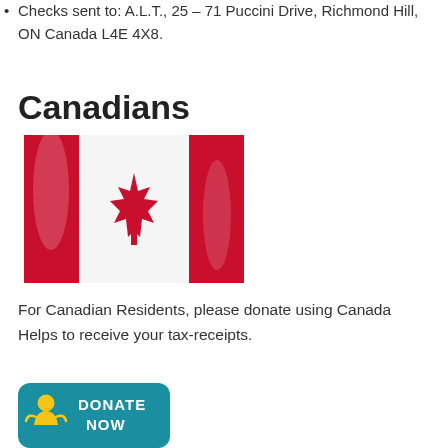Checks sent to: A.L.T., 25 – 71 Puccini Drive, Richmond Hill, ON Canada L4E 4X8.
Canadians
[Figure (photo): Canadian flag waving, red and white with maple leaf in center]
For Canadian Residents, please donate using Canada Helps to receive your tax-receipts.
[Figure (logo): Donate Now button — teal/blue rounded rectangle with person icon and text DONATE NOW in white]